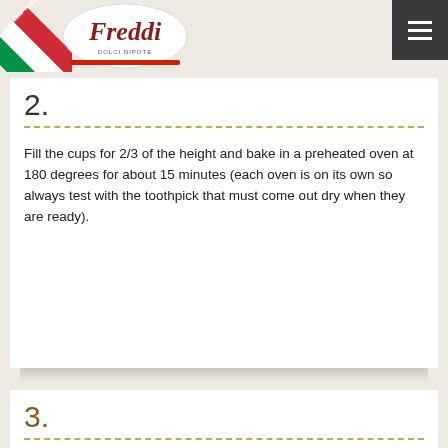Freddi - Italian Taste logo and navigation
2. Fill the cups for 2/3 of the height and bake in a preheated oven at 180 degrees for about 15 minutes (each oven is on its own so always test with the toothpick that must come out dry when they are ready).
3. Prepare the cream by putting the Freddi Dolcetto Cherry snacks in the food processor making them like ...